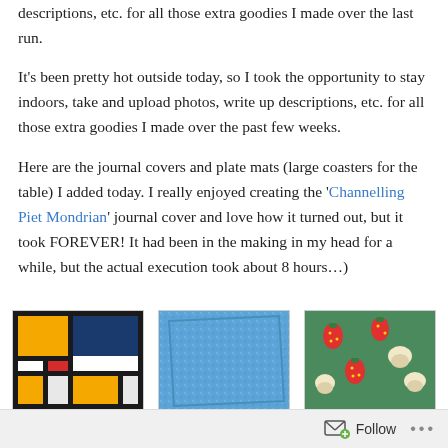descriptions, etc. for all those extra goodies I made over the last run.
It's been pretty hot outside today, so I took the opportunity to stay indoors, take and upload photos, write up descriptions, etc. for all those extra goodies I made over the past few weeks.
Here are the journal covers and plate mats (large coasters for the table) I added today. I really enjoyed creating the 'Channelling Piet Mondrian' journal cover and love how it turned out, but it took FOREVER! It had been in the making in my head for a while, but the actual execution took about 8 hours…)
[Figure (photo): Mondrian-style journal cover with bold colored rectangles in orange, red, blue, white separated by thick black lines]
[Figure (photo): Blue sparkly/textured fabric journal cover or plate mat]
[Figure (photo): Green fabric with strawberries and mushroom/heart pattern]
Follow ...